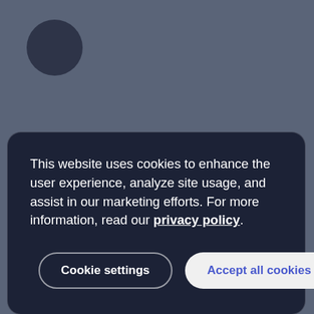[Figure (illustration): Dark circular avatar icon in the upper left corner of a grey-blue background]
This website uses cookies to enhance the user experience, analyze site usage, and assist in our marketing efforts. For more information, read our privacy policy.
Cookie settings
Accept all cookies